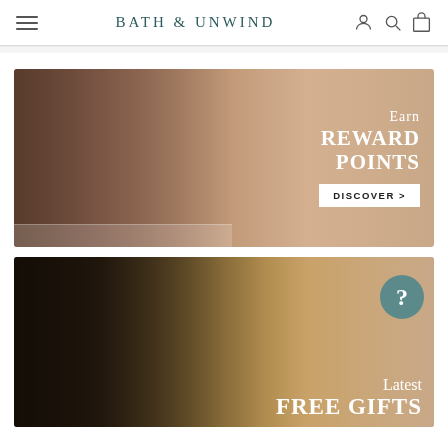BATH & UNWIND
[Figure (photo): Promotional banner showing bath and skincare products (Noble Isle, etc.) on a shelf with pink background, text overlay: Earn REWARD POINTS, DISCOVER >]
[Figure (photo): Promotional banner showing skincare products (Amanda Harrington, Mio, etc.) on golden background with text: Latest FREE GIFTS, and a teal help bubble with question mark]